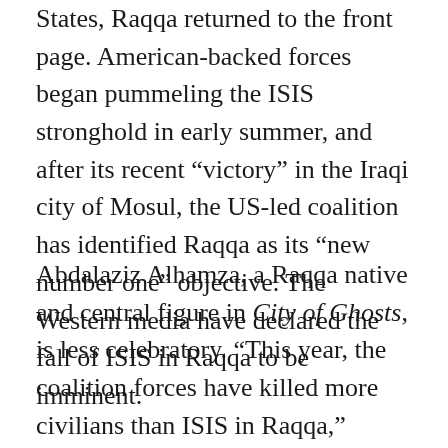States, Raqqa returned to the front page. American-backed forces began pummeling the ISIS stronghold in early summer, and after its recent “victory” in the Iraqi city of Mosul, the US-led coalition has identified Raqqa as its “new number one” objective. The Western media have declared the fall of ISIS in Raqqa to be imminent.
Abdalaziz Alhamza, a Raqqa native and central figure in City of Ghosts, is less celebratory. “This year, the coalition forces have killed more civilians than ISIS in Raqqa,” Alhamza told a New York audience after a screening of the film on July 8. He’s also wary